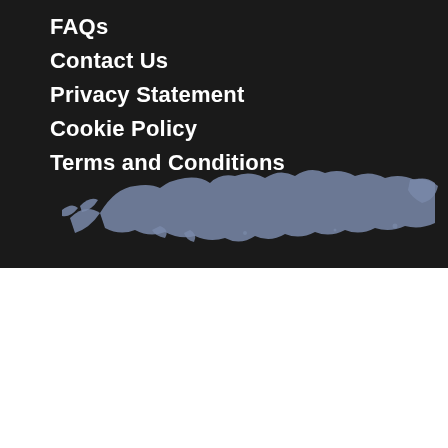FAQs
Contact Us
Privacy Statement
Cookie Policy
Terms and Conditions
[Figure (map): World map silhouette in grey/blue tones on dark background]
We use cookies on our website to give you the most relevant experience by remembering your preferences and repeat visits. By clicking “Accept All”, you consent to the use of ALL the cookies. However, you may visit "Cookie Settings" to provide a controlled consent.
Cookie Settings
Accept All